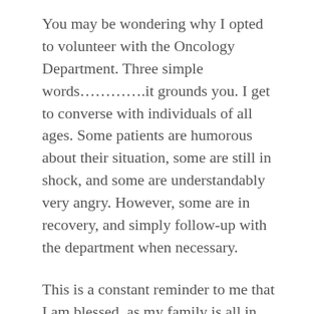You may be wondering why I opted to volunteer with the Oncology Department. Three simple words…………it grounds you. I get to converse with individuals of all ages. Some patients are humorous about their situation, some are still in shock, and some are understandably very angry. However, some are in recovery, and simply follow-up with the department when necessary.
This is a constant reminder to me that I am blessed, as my family is all in good health, and we can go about pursuing our projects and dreams. For cancer patients, some projects and dreams have to be put on hold.
Volunteering or giving back may have positive benefits for the person or community but for the volunteer as well
I get inspired meeting individuals in adversity, and I feel a